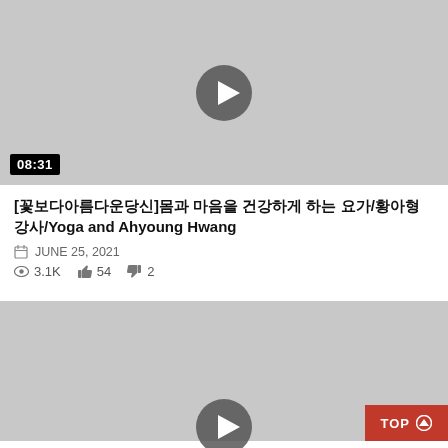[Figure (screenshot): Video thumbnail placeholder (gray) with play button and duration badge 08:31]
[꽃보다아름다운당신]몸과 마음을 건강하게 하는 요가/황아형 강사/Yoga and Ahyoung Hwang
JUNE 25, 2021
3.1K  54  2
[Figure (screenshot): Second video thumbnail placeholder (gray) with play button and TOP arrow button overlay]